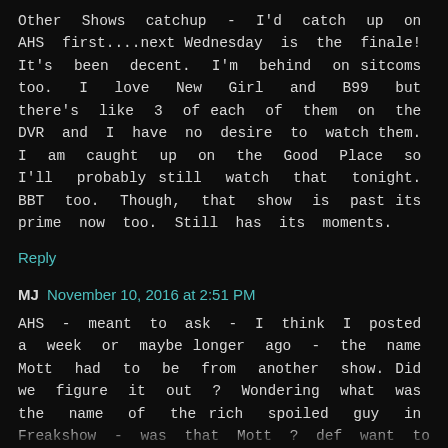Other Shows catchup - I'd catch up on AHS first....next Wednesday is the finale! It's been decent. I'm behind on sitcoms too. I love New Girl and B99 but there's like 3 of each of them on the DVR and I have no desire to watch them. I am caught up on the Good Place so I'll probably still watch that tonight. BBT too. Though, that show is past its prime now too. Still has its moments.
Reply
MJ November 10, 2016 at 2:51 PM
AHS - meant to ask - I think I posted a week or maybe longer ago - the name Mott had to be from another show. Did we figure it out ? Wondering what was the name of the rich spoiled guy in Freakshow - was that Mott ? def want to jump back into that asap. Heard it's gotten totally crazy. Know that the Farmiga (?sp?) is back (Vera's real life sister from Bates). Now I'm thinking about Bates and how I want it back. LOL